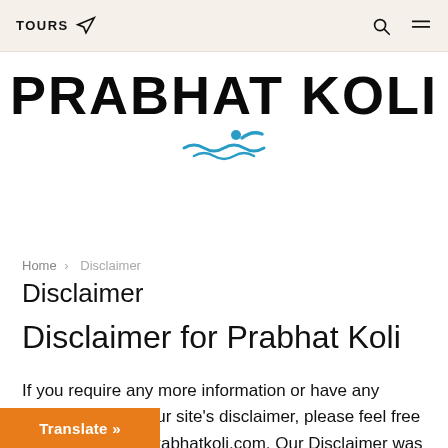TOURS
[Figure (logo): PRABHAT KOLI logo with swimmer icon in teal/blue]
Home › Disclaimer
Disclaimer
Disclaimer for Prabhat Koli
If you require any more information or have any questions about our site's disclaimer, please feel free to contact us by [email at] prabhatkoli.com. Our Disclaimer was